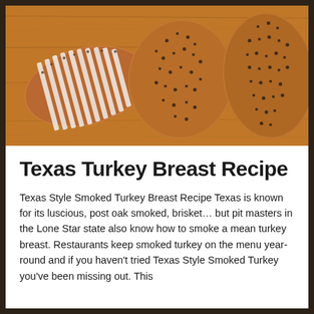[Figure (photo): Photo of Texas smoked turkey breasts on a wooden cutting board. On the left, a turkey breast is sliced revealing white meat with dark pepper crust. In the center and right are two whole turkey breasts heavily coated in black pepper and seasoning rub.]
Texas Turkey Breast Recipe
Texas Style Smoked Turkey Breast Recipe Texas is known for its luscious, post oak smoked, brisket... but pit masters in the Lone Star state also know how to smoke a mean turkey breast. Restaurants keep smoked turkey on the menu year-round and if you haven't tried Texas Style Smoked Turkey you've been missing out. This